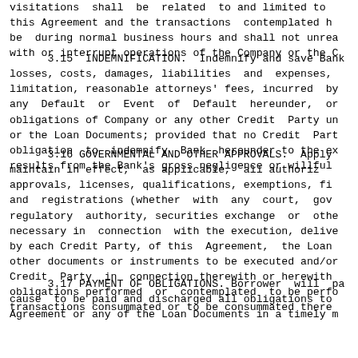visitations shall be related to and limited to this Agreement and the transactions contemplated be during normal business hours and shall not unrea with or interrupt operations of the Company or the C
3.15 INDEMNIFICATION. Indemnify and save Bank losses, costs, damages, liabilities and expenses, limitation, reasonable attorneys' fees, incurred by any Default or Event of Default hereunder, or obligations of Company or any other Credit Party un or the Loan Documents; provided that no Credit Part obligation to indemnify Bank hereunder to the ex results from the Bank's gross negligence or willful
3.16 GOVERNMENTAL AND OTHER APPROVALS. Apply maintain in effect, as applicable, all authori approvals, licenses, qualifications, exemptions, fi and registrations (whether with any court, gov regulatory authority, securities exchange or othe necessary in connection with the execution, delive by each Credit Party, of this Agreement, the Loan other documents or instruments to be executed and/or Credit Party in connection therewith or herewith obligations performed or contemplated to be perfo transactions consummated or to be consummated there
3.17 PAYMENT OF OBLIGATIONS. Borrower will pa cause to be paid and discharged all obligations to Agreement or any of the Loan Documents in a timely m